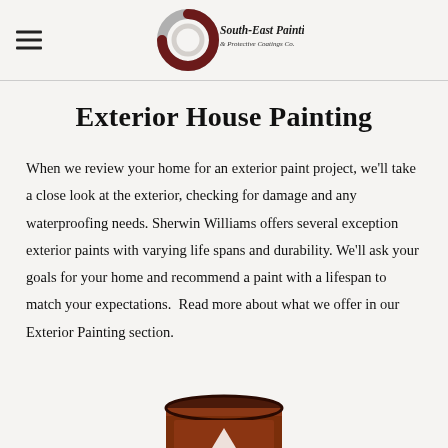South-East Painting & Protective Coatings Co.
Exterior House Painting
When we review your home for an exterior paint project, we'll take a close look at the exterior, checking for damage and any waterproofing needs. Sherwin Williams offers several exception exterior paints with varying life spans and durability. We'll ask your goals for your home and recommend a paint with a lifespan to match your expectations.  Read more about what we offer in our Exterior Painting section.
[Figure (photo): Partial view of a paint can (brown/mahogany colored) visible at the bottom of the page, cropped.]